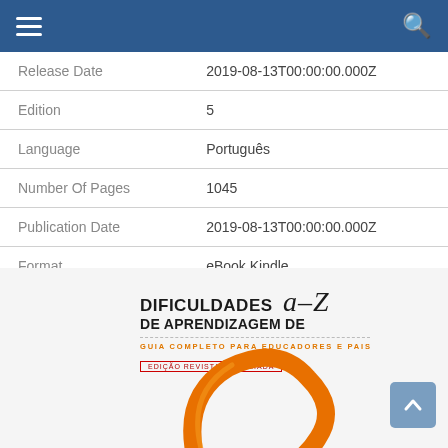| Field | Value |
| --- | --- |
| Release Date | 2019-08-13T00:00:00.000Z |
| Edition | 5 |
| Language | Português |
| Number Of Pages | 1045 |
| Publication Date | 2019-08-13T00:00:00.000Z |
| Format | eBook Kindle |
[Figure (illustration): Book cover thumbnail for 'Dificuldades de Aprendizagem de A-Z – Guia Completo para Educadores e Pais', with an orange pencil forming a circle beneath the text, and a label 'Edição Revista e Ampliada'.]